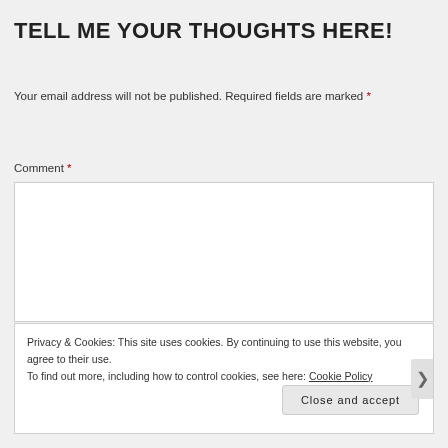TELL ME YOUR THOUGHTS HERE!
Your email address will not be published. Required fields are marked *
Comment *
Privacy & Cookies: This site uses cookies. By continuing to use this website, you agree to their use.
To find out more, including how to control cookies, see here: Cookie Policy
Close and accept